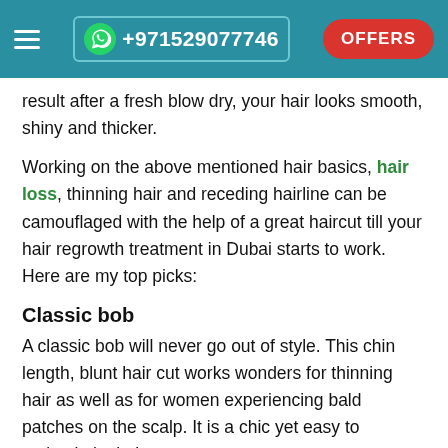≡  +971529077746  OFFERS
result after a fresh blow dry, your hair looks smooth, shiny and thicker.
Working on the above mentioned hair basics, hair loss, thinning hair and receding hairline can be camouflaged with the help of a great haircut till your hair regrowth treatment in Dubai starts to work. Here are my top picks:
Classic bob
A classic bob will never go out of style. This chin length, blunt hair cut works wonders for thinning hair as well as for women experiencing bald patches on the scalp. It is a chic yet easy to maintain look. It can